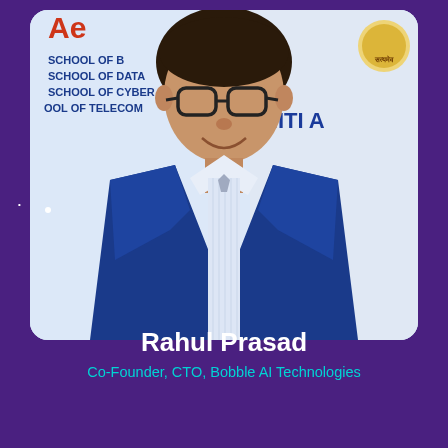[Figure (photo): Headshot photo of Rahul Prasad, a young man wearing glasses and a navy blue blazer with a white striped shirt, smiling. Background shows school/institute banners reading 'SCHOOL OF B...', 'SCHOOL OF DATA', 'SCHOOL OF CYBER', 'OOL OF TELECOM...' on the left and 'NITI A...' on the right, with an emblem in the top right. Purple border around the photo.]
Rahul Prasad
Co-Founder, CTO, Bobble AI Technologies